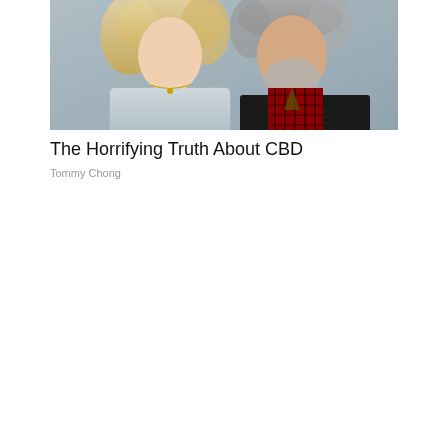[Figure (photo): A man and a woman posing together. The woman has curly blonde hair and wears a light blue/silver lace top with a necklace. The man has gray hair and a gray beard, wearing a dark blazer over a plaid red and black shirt.]
The Horrifying Truth About CBD
Tommy Chong